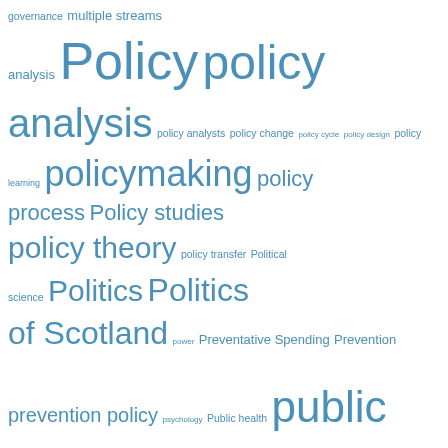[Figure (infographic): Tag cloud of academic/policy terms in various sizes and shades of blue, including: governance, multiple streams analysis, Policy, policy analysis, policy analysts, policy change, policy cycle, policy design, policy learning, policymaking, policy process, Policy studies, policy theory, policy transfer, Political science, Politics, Politics of Scotland, power, Preventative Spending, Prevention, prevention policy, psychology, Public health, public policy, Punctuated equilibrium, punctuated equilibrium theory, science, science advice, science advice to government, science and policy, science and policy making, Scotland, Scottish Constitutional Convention, Scottish Government, Scottish independence, Scottish Parliament, Scottish politics, SNP, the Academy, The politics of, UK]